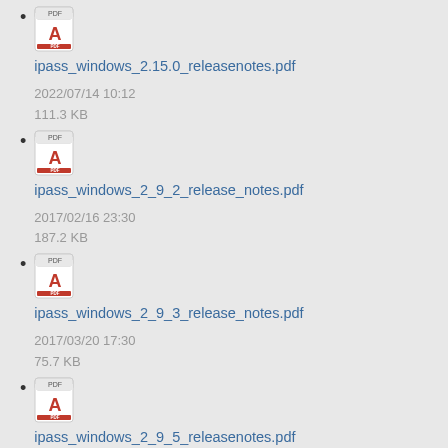ipass_windows_2.15.0_releasenotes.pdf
2022/07/14 10:12
111.3 KB
ipass_windows_2_9_2_release_notes.pdf
2017/02/16 23:30
187.2 KB
ipass_windows_2_9_3_release_notes.pdf
2017/03/20 17:30
75.7 KB
ipass_windows_2_9_5_releasenotes.pdf